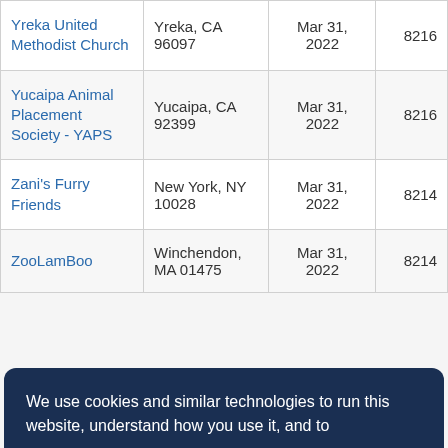| Organization | Location | Date | Number |
| --- | --- | --- | --- |
| Yreka United Methodist Church | Yreka, CA 96097 | Mar 31, 2022 | 8216 |
| Yucaipa Animal Placement Society - YAPS | Yucaipa, CA 92399 | Mar 31, 2022 | 8216 |
| Zani's Furry Friends | New York, NY 10028 | Mar 31, 2022 | 8214 |
| ZooLamBoo | Winchendon, MA 01475 | Mar 31, 2022 | 8214 |
We use cookies and similar technologies to run this website, understand how you use it, and to